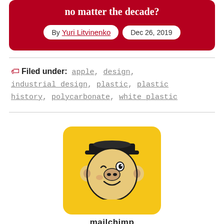no matter the decade?
By Yuri Litvinenko | Dec 26, 2019
Filed under: apple, design, industrial design, plastic, plastic history, polycarbonate, white plastic
[Figure (logo): Mailchimp logo: yellow rounded rectangle with cartoon chimpanzee mascot (Freddie) wearing a cap, winking, below text reads 'mailchimp']